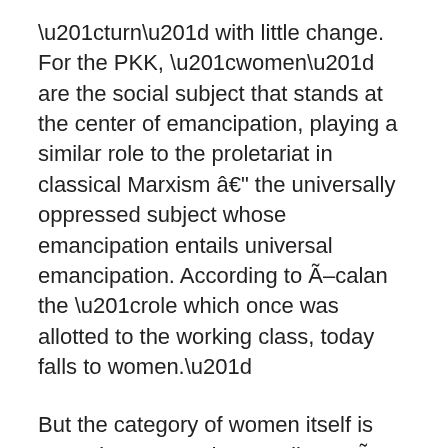“turn” with little change. For the PKK, “women” are the social subject that stands at the center of emancipation, playing a similar role to the proletariat in classical Marxism â the universally oppressed subject whose emancipation entails universal emancipation. According to Ã„calan the “role which once was allotted to the working class, today falls to women.”
But the category of women itself is never interrogated. According to Ã„calan, women are biologically more compassionate and empathic than men, and have more “emotional intelligence.”